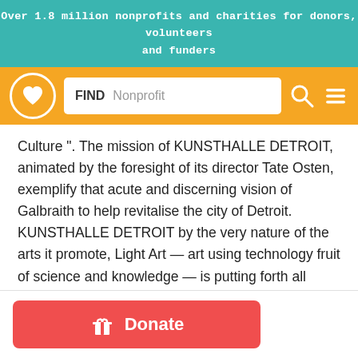Over 1.8 million nonprofits and charities for donors, volunteers and funders
[Figure (screenshot): Navigation bar with logo (circle with heart icon), search box labeled FIND Nonprofit, search icon, and hamburger menu icon on orange background]
Culture ". The mission of KUNSTHALLE DETROIT, animated by the foresight of its director Tate Osten, exemplify that acute and discerning vision of Galbraith to help revitalise the city of Detroit. KUNSTHALLE DETROIT by the very nature of the arts it promote, Light Art — art using technology fruit of science and knowledge — is putting forth all witch embodies Culture globally. And with the event of LUMINALE DETROIT, the revitalizing of a city is carried out on it's very own urban body, the public space, our space.
[Figure (other): Red Donate button with gift/present icon]